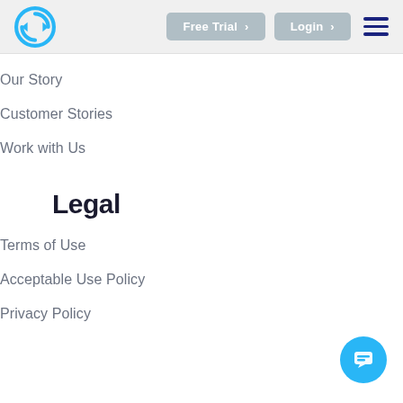Free Trial | Login | [hamburger menu]
Our Story
Customer Stories
Work with Us
Legal
Terms of Use
Acceptable Use Policy
Privacy Policy